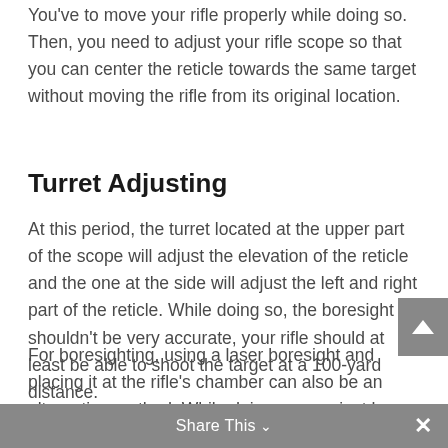You've to move your rifle properly while doing so. Then, you need to adjust your rifle scope so that you can center the reticle towards the same target without moving the rifle from its original location.
Turret Adjusting
At this period, the turret located at the upper part of the scope will adjust the elevation of the reticle and the one at the side will adjust the left and right part of the reticle. While doing so, the boresight shouldn't be very accurate, your rifle should at least be able to shoot the target at a 100-yard distance.
For boresighting, using a laser boresight and placing it at the rifle's chamber can also be an alternative method. While doing so, you just have to make sure that the reticle is centered towards your target properly. Using a laser boresight can make your entire